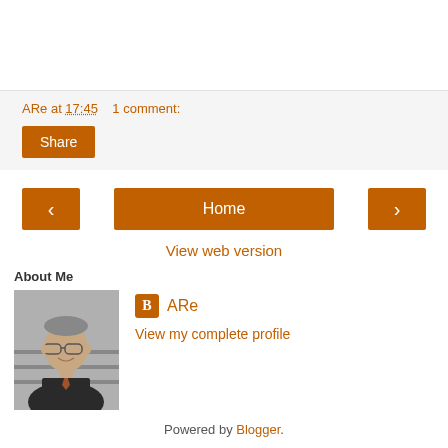ARe at 17:45   1 comment:
Share
‹  Home  ›
View web version
About Me
[Figure (photo): Black and white profile photo of a man wearing glasses and a suit, smiling]
ARe
View my complete profile
Powered by Blogger.